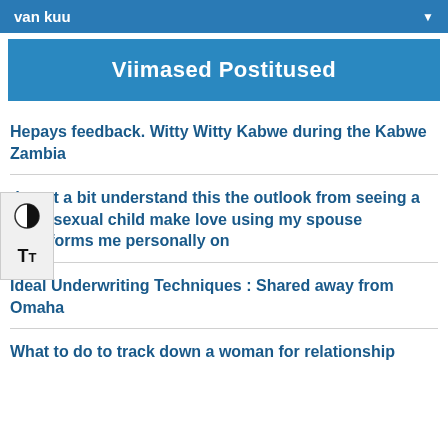van kuu
Viimased Postitused
Hepays feedback. Witty Witty Kabwe during the Kabwe Zambia
do not a bit understand this the outlook from seeing a homosexual child make love using my spouse transforms me personally on
Ideal Underwriting Techniques : Shared away from Omaha
What to do to track down a woman for relationship